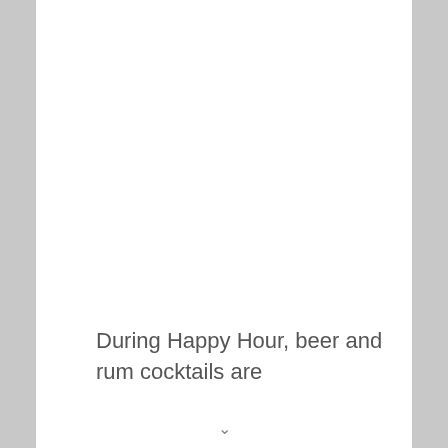During Happy Hour, beer and rum cocktails are